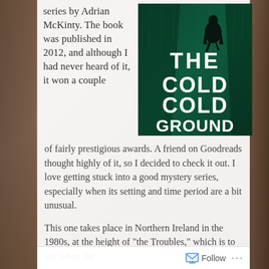series by Adrian McKinty. The book was published in 2012, and although I had never heard of it, it won a couple of fairly prestigious awards. A friend on Goodreads thought highly of it, so I decided to check it out. I love getting stuck into a good mystery series, especially when its setting and time period are a bit unusual.
[Figure (photo): Book cover of 'The Cold Cold Ground' — dark teal/green atmospheric cover showing a silhouetted figure walking through a dark alleyway, with large white bold text reading THE COLD COLD GROUND]
This one takes place in Northern Ireland in the 1980s, at the height of "the Troubles," which is to say when the
Follow